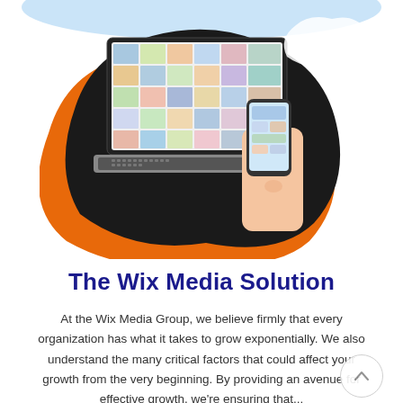[Figure (photo): A laptop displaying a colorful image grid/mood board on its screen, with a hand holding a smartphone in the foreground, set against a dark marble surface. An orange organic blob shape is behind the laptop image, and a light blue cloud shape appears at the top of the page.]
The Wix Media Solution
At the Wix Media Group, we believe firmly that every organization has what it takes to grow exponentially. We also understand the many critical factors that could affect your growth from the very beginning. By providing an avenue for effective growth, we're ensuring that...